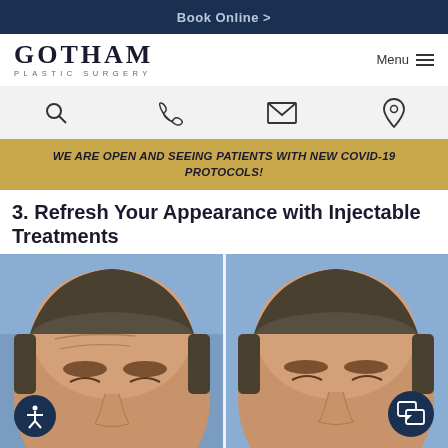Book Online >
[Figure (logo): Gotham Plastic Surgery logo with menu button]
[Figure (infographic): Icon bar with search, phone, email, and location icons]
WE ARE OPEN AND SEEING PATIENTS WITH NEW COVID-19 PROTOCOLS!
3. Refresh Your Appearance with Injectable Treatments
[Figure (photo): Before and after photo of male patient showing forehead wrinkle reduction from injectable treatments. Left side shows visible forehead wrinkles, right side shows smoother forehead after treatment. Blue background.]